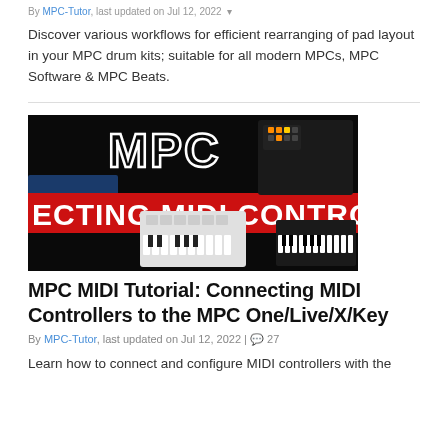By MPC-Tutor, last updated on Jul 12, 2022
Discover various workflows for efficient rearranging of pad layout in your MPC drum kits; suitable for all modern MPCs, MPC Software & MPC Beats.
[Figure (photo): Thumbnail image for MPC MIDI Tutorial article showing MPC hardware devices and MIDI controllers on black background with text 'MPC' and 'ECTING MIDI CONTROL']
MPC MIDI Tutorial: Connecting MIDI Controllers to the MPC One/Live/X/Key
By MPC-Tutor, last updated on Jul 12, 2022 | 27
Learn how to connect and configure MIDI controllers with the